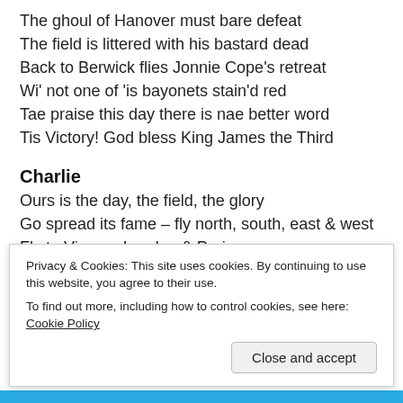The ghoul of Hanover must bare defeat
The field is littered with his bastard dead
Back to Berwick flies Jonnie Cope’s retreat
Wi’ not one of ‘is bayonets stain’d red
Tae praise this day there is nae better word
Tis Victory! God bless King James the Third
Charlie
Ours is the day, the field, the glory
Go spread its fame – fly north, south, east & west
Fly to Vienna, London & Paris,
Fly to Ferrol, Ostend, Dunkerque & Brest
& let us war! But ‘fore the march we sound
C...
Privacy & Cookies: This site uses cookies. By continuing to use this website, you agree to their use.
To find out more, including how to control cookies, see here: Cookie Policy
Close and accept